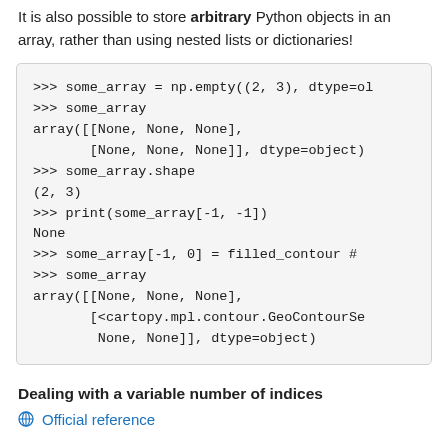It is also possible to store arbitrary Python objects in an array, rather than using nested lists or dictionaries!
[Figure (screenshot): Python code block showing numpy array creation with object dtype, shape checking, printing, and assignment with cartopy contour object]
Dealing with a variable number of indices
Official reference